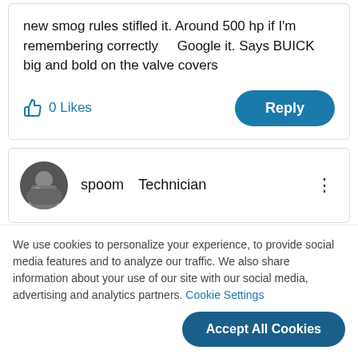new smog rules stifled it. Around 500 hp if I'm remembering correctly    Google it. Says BUICK big and bold on the valve covers
0 Likes
Reply
spoom  Technician
We use cookies to personalize your experience, to provide social media features and to analyze our traffic. We also share information about your use of our site with our social media, advertising and analytics partners. Cookie Settings
Accept All Cookies